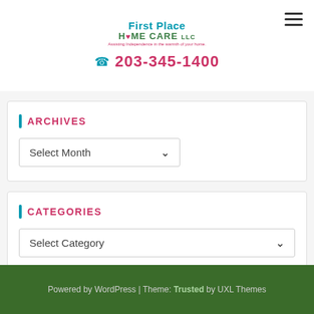First Place HOME CARE LLC | 203-345-1400
ARCHIVES
Select Month
CATEGORIES
Select Category
Powered by WordPress | Theme: Trusted by UXL Themes